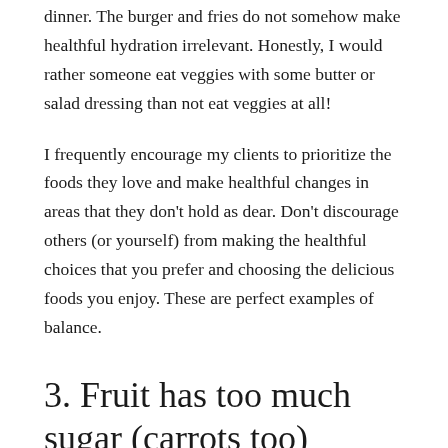dinner. The burger and fries do not somehow make healthful hydration irrelevant. Honestly, I would rather someone eat veggies with some butter or salad dressing than not eat veggies at all!
I frequently encourage my clients to prioritize the foods they love and make healthful changes in areas that they don't hold as dear. Don't discourage others (or yourself) from making the healthful choices that you prefer and choosing the delicious foods you enjoy. These are perfect examples of balance.
3. Fruit has too much sugar (carrots too)
This one is an offshoot of #1. Fear of carbs = fear of sugar. Most fruits and vegetables have some naturally-